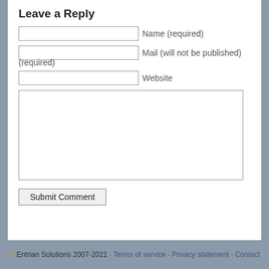Leave a Reply
Name (required)
Mail (will not be published) (required)
Website
Submit Comment
© Entrian Solutions 2007-2021 · Terms of service · Privacy statement · Contact